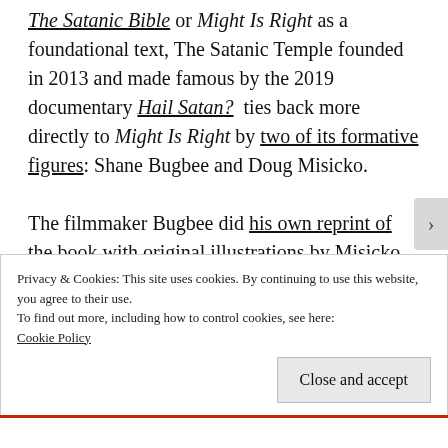The Satanic Bible or Might Is Right as a foundational text, The Satanic Temple founded in 2013 and made famous by the 2019 documentary Hail Satan? ties back more directly to Might Is Right by two of its formative figures: Shane Bugbee and Doug Misicko.

The filmmaker Bugbee did his own reprint of the book with original illustrations by Misicko, then going by the pseudonym Doug Mesner. Misicko is most famous now as The Satanic
Privacy & Cookies: This site uses cookies. By continuing to use this website, you agree to their use.
To find out more, including how to control cookies, see here: Cookie Policy

Close and accept